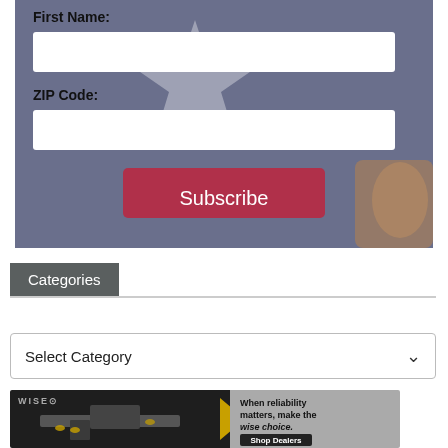[Figure (screenshot): Form with First Name and ZIP Code fields on a blue-grey flag background, with a crimson Subscribe button and bullet/gun imagery]
Categories
[Figure (other): Select Category dropdown widget]
[Figure (other): WISE advertisement banner: gun imagery on left, text 'When reliability matters, make the wise choice.' and 'Shop Dealers' button on right]